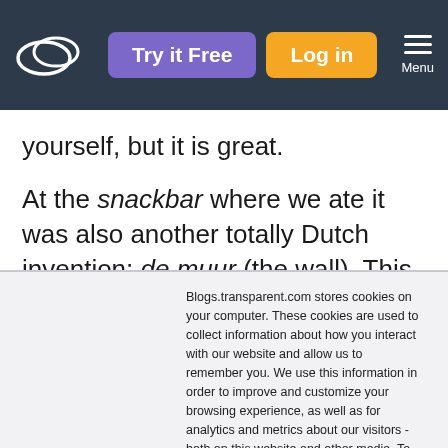Try it Free | Log in | Menu
yourself, but it is great.
At the snackbar where we ate it was also another totally Dutch invention: de muur (the wall). This is not some
Blogs.transparent.com stores cookies on your computer. These cookies are used to collect information about how you interact with our website and allow us to remember you. We use this information in order to improve and customize your browsing experience, as well as for analytics and metrics about our visitors - both on this website and other media. To find out more about the cookies we use, see our Privacy Policy.
If you decline, your information won't be tracked when you visit this website. A single cookie will be used in your browser to remember your preference not to be tracked.
Accept | Decline